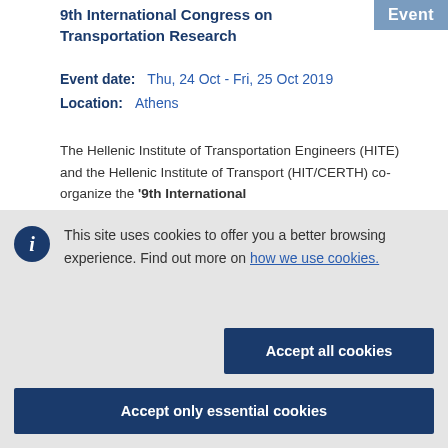9th International Congress on Transportation Research
Event date:  Thu, 24 Oct - Fri, 25 Oct 2019
Location:  Athens
The Hellenic Institute of Transportation Engineers (HITE) and the Hellenic Institute of Transport (HIT/CERTH) co-organize the '9th International
This site uses cookies to offer you a better browsing experience. Find out more on how we use cookies.
Accept all cookies
Accept only essential cookies